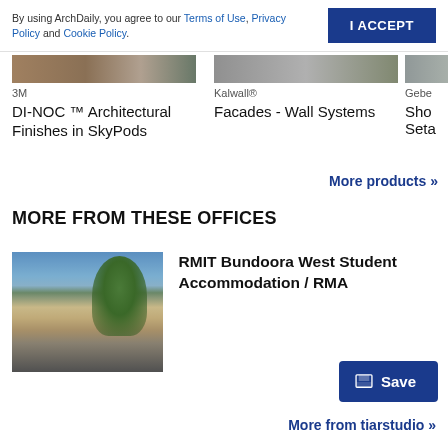By using ArchDaily, you agree to our Terms of Use, Privacy Policy and Cookie Policy.
I ACCEPT
[Figure (photo): Product image strip for 3M DI-NOC Architectural Finishes in SkyPods]
3M
DI-NOC ™ Architectural Finishes in SkyPods
[Figure (photo): Product image strip for Kalwall Facades - Wall Systems]
Kalwall®
Facades - Wall Systems
Gebe
Seta
More products »
MORE FROM THESE OFFICES
[Figure (photo): Photo of RMIT Bundoora West Student Accommodation building with trees and parking lot in foreground]
RMIT Bundoora West Student Accommodation / RMA
Save
More from tiarstudio »